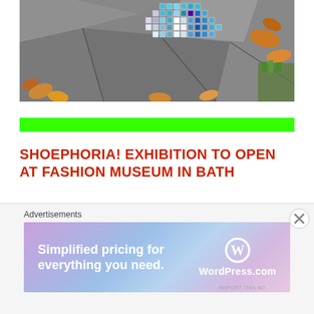[Figure (photo): Photograph of a mosaic artwork in the shape of a shoe or decorative form, placed on cracked pavement/sidewalk, surrounded by autumn leaves. The mosaic features blue, teal, white and iridescent tiles.]
SHOEPHORIA! EXHIBITION TO OPEN AT FASHION MUSEUM IN BATH
Article by Morwenna Ferrier on The Guardian.
[Figure (screenshot): Advertisement overlay: Advertisements label above a WordPress.com banner ad reading 'Simplified pricing for everything you need.' with WordPress.com logo on gradient purple-blue background. Close button (X) visible.]